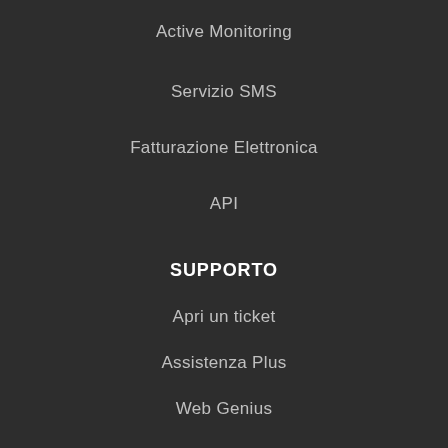Active Monitoring
Servizio SMS
Fatturazione Elettronica
API
SUPPORTO
Apri un ticket
Assistenza Plus
Web Genius
Guide e documentazione